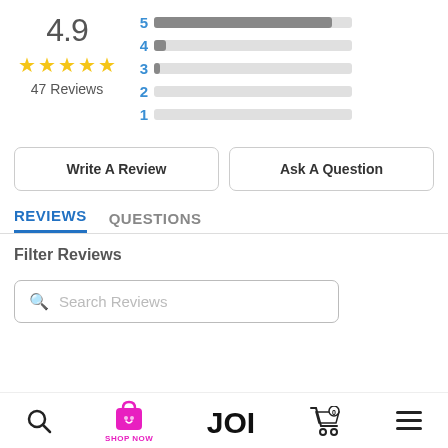[Figure (bar-chart): Star rating distribution bars. 4.9 stars, 47 Reviews. 5-star bar is longest, 4 and 3 are short, 2 and 1 are nearly empty.]
Write A Review
Ask A Question
REVIEWS   QUESTIONS
Filter Reviews
Search Reviews